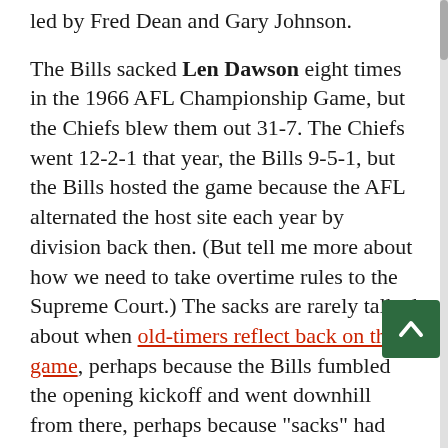led by Fred Dean and Gary Johnson.
The Bills sacked Len Dawson eight times in the 1966 AFL Championship Game, but the Chiefs blew them out 31-7. The Chiefs went 12-2-1 that year, the Bills 9-5-1, but the Bills hosted the game because the AFL alternated the host site each year by division back then. (But tell me more about how we need to take overtime rules to the Supreme Court.) The sacks are rarely talked about when old-timers reflect back on the game, perhaps because the Bills fumbled the opening kickoff and went downhill from there, perhaps because "sacks" had not even entered the vernacular yet. Anyway, tack on five more Dawson sacks from the Lombardi Packers in the first Super Bowl.
Wade Wilson, who spent years trading Vikings starts with Tommy Kramer, relieved the injured